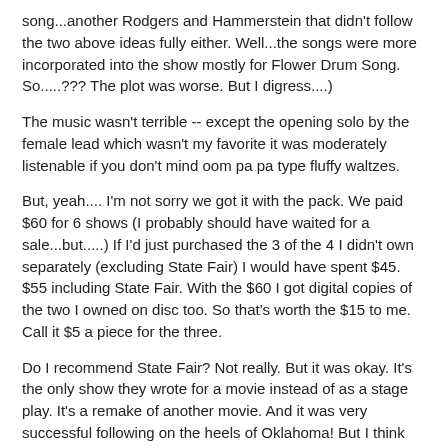song...another Rodgers and Hammerstein that didn't follow the two above ideas fully either. Well...the songs were more incorporated into the show mostly for Flower Drum Song. So.....??? The plot was worse. But I digress....)
The music wasn't terrible -- except the opening solo by the female lead which wasn't my favorite it was moderately listenable if you don't mind oom pa pa type fluffy waltzes.
But, yeah.... I'm not sorry we got it with the pack. We paid $60 for 6 shows (I probably should have waited for a sale...but.....) If I'd just purchased the 3 of the 4 I didn't own separately (excluding State Fair) I would have spent $45. $55 including State Fair. With the $60 I got digital copies of the two I owned on disc too. So that's worth the $15 to me. Call it $5 a piece for the three.
Do I recommend State Fair? Not really. But it was okay. It's the only show they wrote for a movie instead of as a stage play. It's a remake of another movie. And it was very successful following on the heels of Oklahoma! But I think that's the primary reason it was successful.